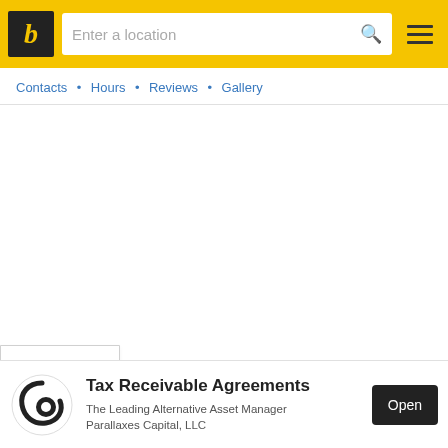[Figure (screenshot): Yellow header bar with black logo box containing italic 'b', search input reading 'Enter a location', search icon, and hamburger menu icon]
Contacts • Hours • Reviews • Gallery
[Figure (other): White empty content area with a dropdown chevron button at the bottom left]
[Figure (other): Advertisement banner for Parallaxes Capital LLC. Shows circular logo, bold title 'Tax Receivable Agreements', subtitle 'The Leading Alternative Asset Manager Parallaxes Capital, LLC', and a dark 'Open' button. Top right shows ad indicator icons.]